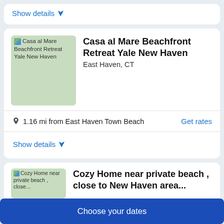Show details ∨
Casa al Mare Beachfront Retreat Yale New Haven
East Haven, CT
1.16 mi from East Haven Town Beach
Get rates
Show details ∨
Cozy Home near private beach , close to New Haven area...
Choose your dates